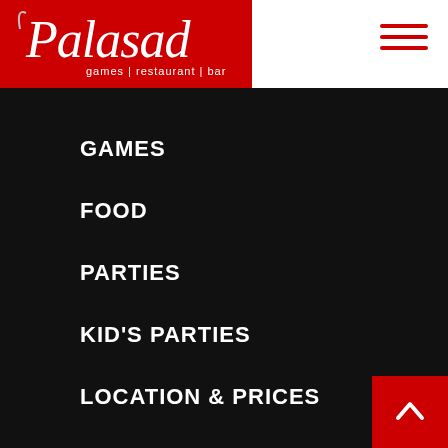[Figure (logo): Palasad logo on red background with text 'games | restaurant | bar']
GAMES
FOOD
PARTIES
KID'S PARTIES
LOCATION & PRICES